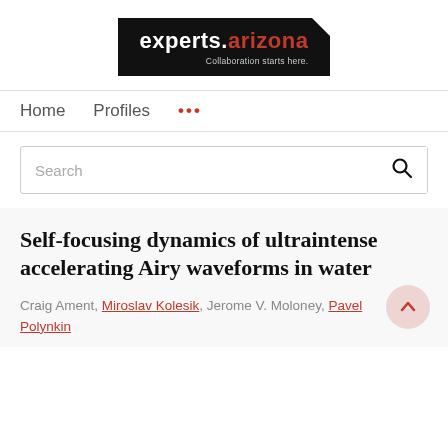[Figure (logo): experts.arizona logo — black background rectangle with white text 'experts.' and red text 'arizona', tagline 'Collaboration starts here.' in light grey, white corner cut-out top right]
Home   Profiles   ...
Search
Self-focusing dynamics of ultraintense accelerating Airy waveforms in water
Craig Ament, Miroslav Kolesik, Jerome V. Moloney, Pavel Polynkin